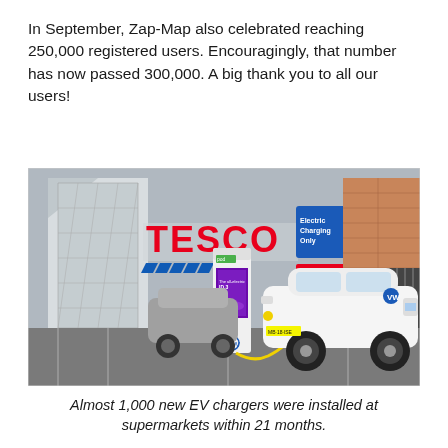In September, Zap-Map also celebrated reaching 250,000 registered users. Encouragingly, that number has now passed 300,000. A big thank you to all our users!
[Figure (photo): A white Volkswagen ID.3 electric car plugged into a pod point EV charging station in a Tesco supermarket car park. The Tesco store is visible in the background with its red logo and a blue 'Electric Charging Only' sign with an arrow.]
Almost 1,000 new EV chargers were installed at supermarkets within 21 months.